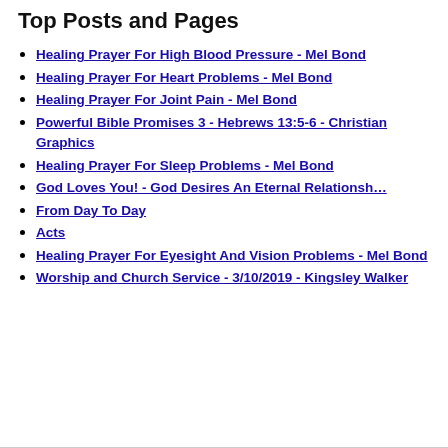Top Posts and Pages
Healing Prayer For High Blood Pressure - Mel Bond
Healing Prayer For Heart Problems - Mel Bond
Healing Prayer For Joint Pain - Mel Bond
Powerful Bible Promises 3 - Hebrews 13:5-6 - Christian Graphics
Healing Prayer For Sleep Problems - Mel Bond
God Loves You! - God Desires An Eternal Relationsh…
From Day To Day
Acts
Healing Prayer For Eyesight And Vision Problems - Mel Bond
Worship and Church Service - 3/10/2019 - Kingsley Walker